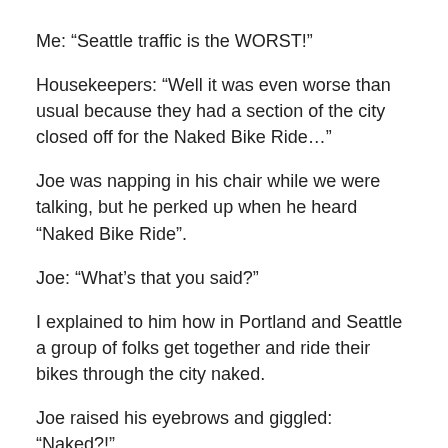Me:  “Seattle traffic is the WORST!”
Housekeepers:  “Well it was even worse than usual because they had a section of the city closed off for the Naked Bike Ride…”
Joe was napping in his chair while we were talking, but he perked up when he heard “Naked Bike Ride”.
Joe:  “What’s that you said?”
I explained to him how in Portland and Seattle a group of folks get together and ride their bikes through the city naked.
Joe raised his eyebrows and giggled:  “Naked?!”
Housekeepers:  “Yep.  Some people are into that kind of